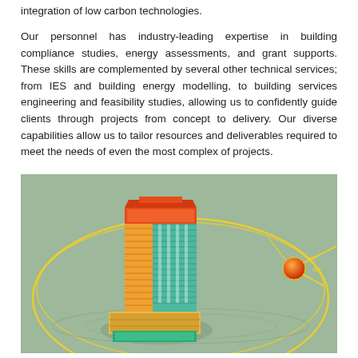integration of low carbon technologies.
Our personnel has industry-leading expertise in building compliance studies, energy assessments, and grant supports. These skills are complemented by several other technical services; from IES and building energy modelling, to building services engineering and feasibility studies, allowing us to confidently guide clients through projects from concept to delivery. Our diverse capabilities allow us to tailor resources and deliverables required to meet the needs of even the most complex of projects.
[Figure (illustration): 3D building energy model showing a tall multi-storey building with colour-coded facades (orange, green, yellow, teal) and solar path arcs with a sun sphere on the right side, set on a sage green background representing an IES building energy simulation.]